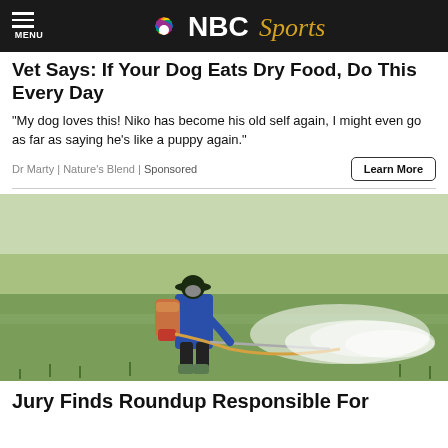MENU | NBC Sports
Vet Says: If Your Dog Eats Dry Food, Do This Every Day
“My dog loves this! Niko has become his old self again, I might even go as far as saying he’s like a puppy again.”
Dr Marty | Nature’s Blend | Sponsored
[Figure (photo): A farmer wearing a blue long-sleeve shirt, black hat, and boots, spraying pesticide with a backpack sprayer over a green rice paddy field]
Jury Finds Roundup Responsible For